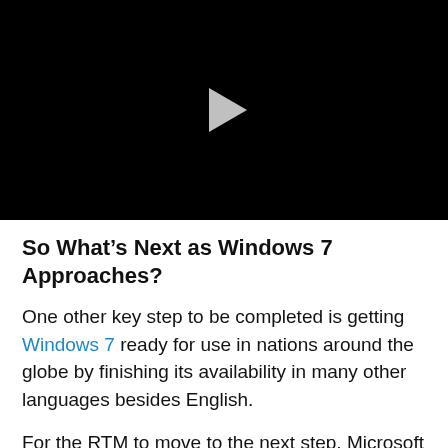[Figure (screenshot): Black video player with a grey play button triangle in the center]
So What’s Next as Windows 7 Approaches?
One other key step to be completed is getting Windows 7 ready for use in nations around the globe by finishing its availability in many other languages besides English.
For the RTM to move to the next step, Microsoft